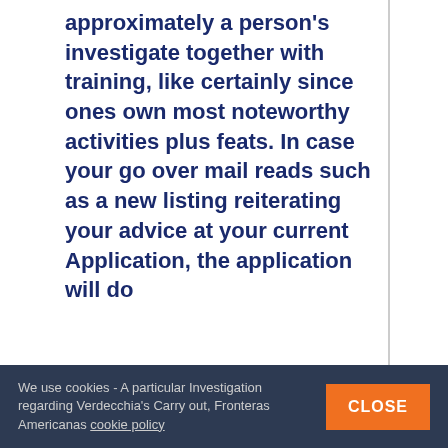approximately a person's investigate together with training, like certainly since ones own most noteworthy activities plus feats. In case your go over mail reads such as a new listing reiterating your advice at your current Application, the application will do
We use cookies - A particular Investigation regarding Verdecchia's Carry out, Fronteras Americanas cookie policy